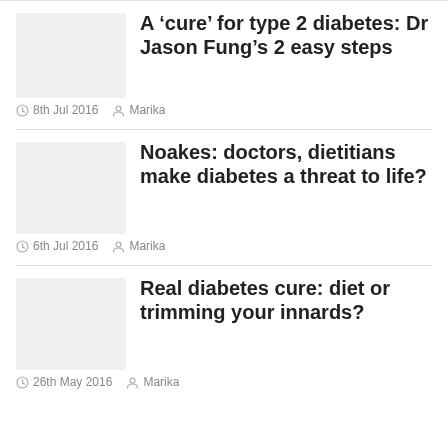A ‘cure’ for type 2 diabetes: Dr Jason Fung’s 2 easy steps
8th Jul 2016  Marika
Noakes: doctors, dietitians make diabetes a threat to life?
6th Jul 2016  Marika
Real diabetes cure: diet or trimming your innards?
26th May 2016  Marika